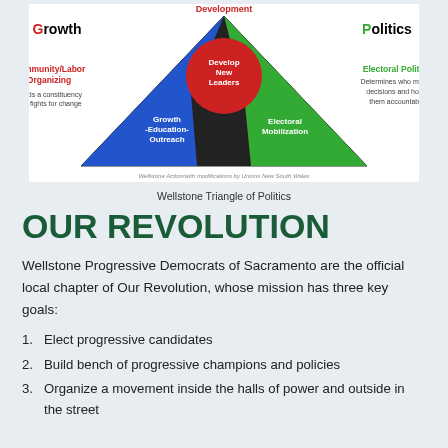[Figure (infographic): Wellstone Triangle of Politics diagram showing a triangle with three sections: Growth (blue, left side with Growth-Education-Outreach), Development (top, red/dark with Develop New Leaders), and Politics (green, right side with Electoral Mobilization). Labels on sides: Community/Labor Organizing (red, left), Electoral Politics (green, right). Small attribution text at bottom.]
Wellstone Triangle of Politics
OUR REVOLUTION
Wellstone Progressive Democrats of Sacramento are the official local chapter of Our Revolution, whose mission has three key goals:
Elect progressive candidates
Build bench of progressive champions and policies
Organize a movement inside the halls of power and outside in the street